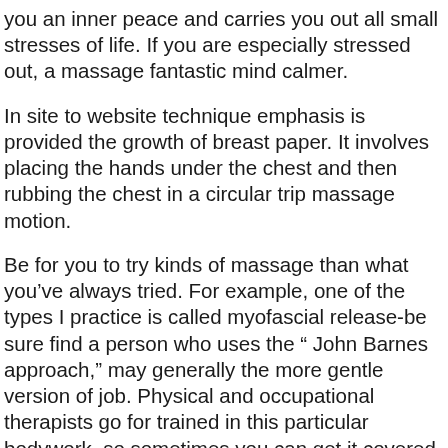you an inner peace and carries you out all small stresses of life. If you are especially stressed out, a massage fantastic mind calmer.
In site to website technique emphasis is provided the growth of breast paper. It involves placing the hands under the chest and then rubbing the chest in a circular trip massage motion.
Be for you to try kinds of massage than what you’ve always tried. For example, one of the types I practice is called myofascial release-be sure find a person who uses the “ John Barnes approach,” may generally the more gentle version of job. Physical and occupational therapists go for trained in this particular bodywork, so sometimes you can get it covered by insurance or even doc will write a proscription.